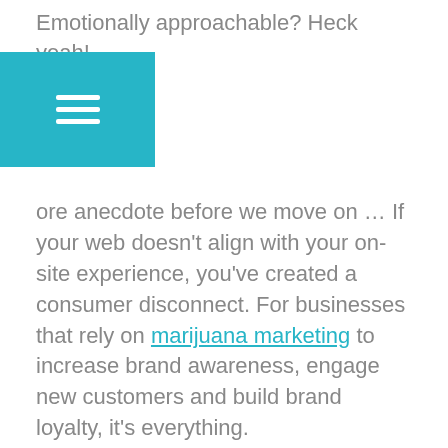Emotionally approachable? Heck yeah!
ore anecdote before we move on … If your web doesn't align with your on-site experience, you've created a consumer disconnect. For businesses that rely on marijuana marketing to increase brand awareness, engage new customers and build brand loyalty, it's everything.
Let's take this up a notch.
Tomorrow's Marijuana Advocates Might Be Today's Adversaries
What if the person in that car heading home from work